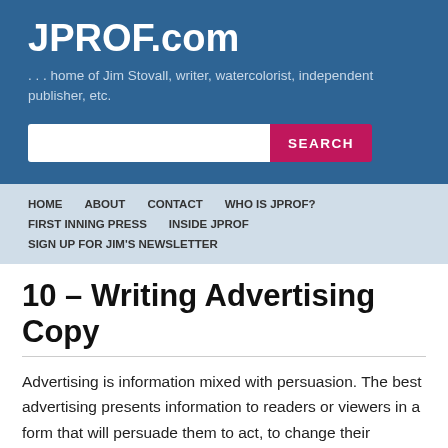JPROF.com
. . . home of Jim Stovall, writer, watercolorist, independent publisher, etc.
HOME   ABOUT   CONTACT   WHO IS JPROF?   FIRST INNING PRESS   INSIDE JPROF   SIGN UP FOR JIM'S NEWSLETTER
10 – Writing Advertising Copy
Advertising is information mixed with persuasion. The best advertising presents information to readers or viewers in a form that will persuade them to act, to change their opinions,